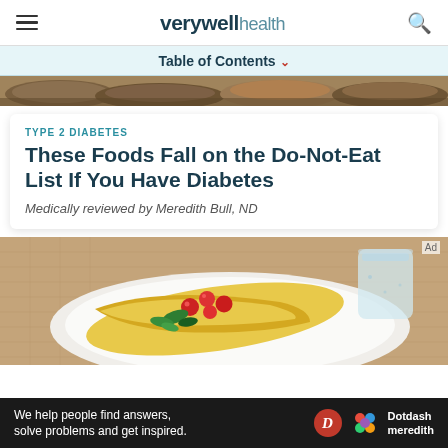verywell health
Table of Contents
[Figure (photo): Close-up of assorted bread loaves, partially visible at top of page.]
TYPE 2 DIABETES
These Foods Fall on the Do-Not-Eat List If You Have Diabetes
Medically reviewed by Meredith Bull, ND
[Figure (photo): A white plate with a yellow egg omelette filled with cherry tomatoes and fresh green herbs/spinach, with a glass of water visible in the background. Placed on a burlap/linen surface.]
We help people find answers, solve problems and get inspired.  Dotdash meredith